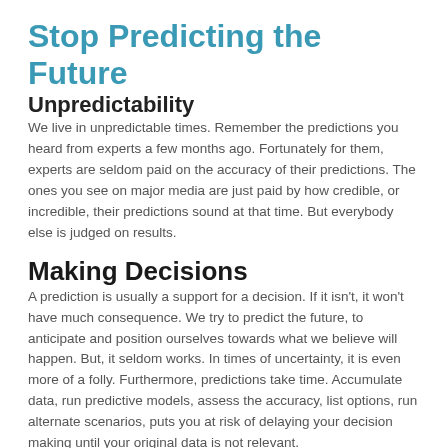Stop Predicting the Future
Unpredictability
We live in unpredictable times. Remember the predictions you heard from experts a few months ago. Fortunately for them, experts are seldom paid on the accuracy of their predictions. The ones you see on major media are just paid by how credible, or incredible, their predictions sound at that time. But everybody else is judged on results.
Making Decisions
A prediction is usually a support for a decision. If it isn't, it won't have much consequence. We try to predict the future, to anticipate and position ourselves towards what we believe will happen. But, it seldom works. In times of uncertainty, it is even more of a folly. Furthermore, predictions take time. Accumulate data, run predictive models, assess the accuracy, list options, run alternate scenarios, puts you at risk of delaying your decision making until your original data is not relevant.